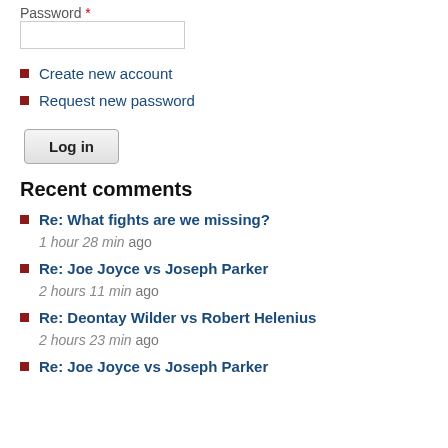Password *
Create new account
Request new password
Log in
Recent comments
Re: What fights are we missing? 1 hour 28 min ago
Re: Joe Joyce vs Joseph Parker 2 hours 11 min ago
Re: Deontay Wilder vs Robert Helenius 2 hours 23 min ago
Re: Joe Joyce vs Joseph Parker